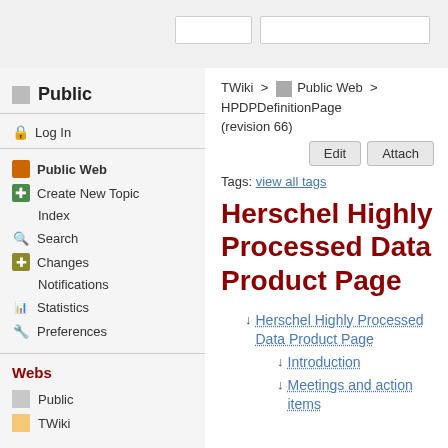[search inputs]
Public
Log In
Public Web
Create New Topic
Index
Search
Changes
Notifications
Statistics
Preferences
Webs
Public
TWiki
TWiki > Public Web > HPDPDefinitionPage (revision 66)
Tags: view all tags
Herschel Highly Processed Data Product Page
Herschel Highly Processed Data Product Page
Introduction
Meetings and action items